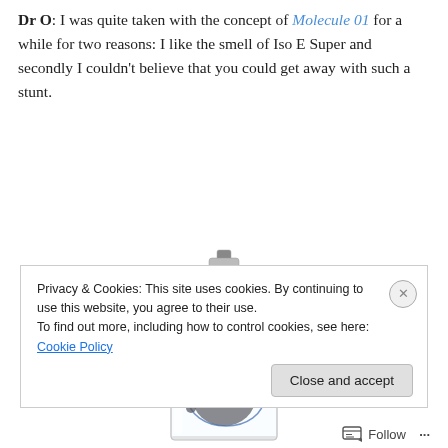Dr O: I was quite taken with the concept of Molecule 01 for a while for two reasons: I like the smell of Iso E Super and secondly I couldn't believe that you could get away with such a stunt.
[Figure (photo): A clear glass perfume bottle with a square flat shape and silver cap, labeled Molecule 01, with decorative dark circular dot patterns printed on the glass.]
Privacy & Cookies: This site uses cookies. By continuing to use this website, you agree to their use.
To find out more, including how to control cookies, see here: Cookie Policy
Follow ···